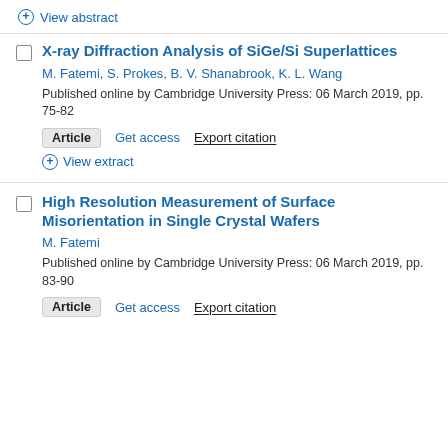+ View abstract
X-ray Diffraction Analysis of SiGe/Si Superlattices
M. Fatemi, S. Prokes, B. V. Shanabrook, K. L. Wang
Published online by Cambridge University Press: 06 March 2019, pp. 75-82
Article  Get access  Export citation
+ View extract
High Resolution Measurement of Surface Misorientation in Single Crystal Wafers
M. Fatemi
Published online by Cambridge University Press: 06 March 2019, pp. 83-90
Article  Get access  Export citation